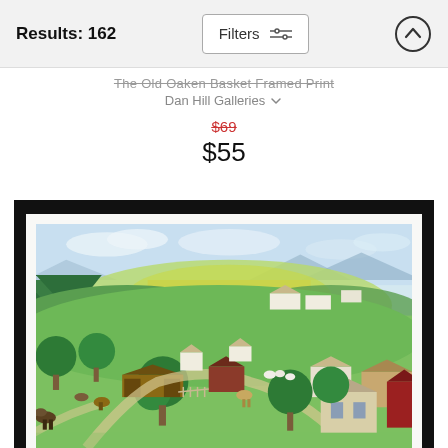Results: 162
The Old Oaken Basket Framed Print
Dan Hill Galleries
$69 (crossed out), $55
[Figure (photo): Folk art framed print showing a pastoral countryside landscape with rolling green hills, farms, barns, a covered bridge, horses, trees, and mountains in the background under a pale blue sky.]